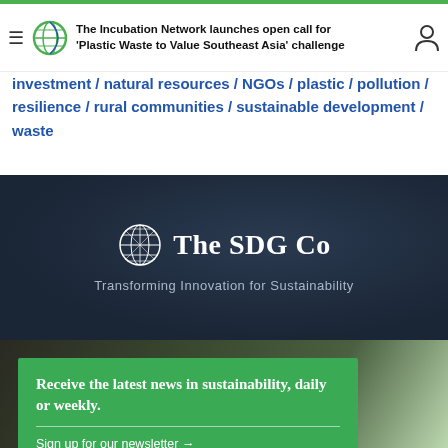The Incubation Network launches open call for 'Plastic Waste to Value Southeast Asia' challenge
investment / natural resources / NGOs / plastic / pollution / resilience / rural communities / sustainable development / waste
[Figure (logo): The SDG Co logo with globe icon and text 'The SDG Co' and tagline 'Transforming Innovation for Sustainability' on dark navy background]
[Figure (infographic): Green-toned photo background with newsletter signup card. Text: 'Receive the latest news in sustainability, daily or weekly.' with 'Sign up for our newsletter →']